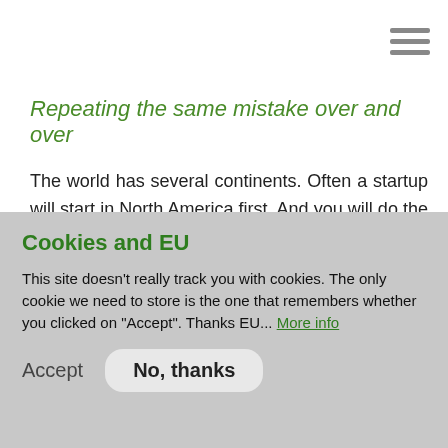Repeating the same mistake over and over
The world has several continents. Often a startup will start in North America first. And you will do the above mistake there first. But, then you expand to Europe and to Asia, and congratulations, you can do the same mistake again!
In fact, for each continent the above effect may be amplified. C... ns and Asians...
Privacy settings
Cookies and EU
This site doesn't really track you with cookies. The only cookie we need to store is the one that remembers whether you clicked on "Accept". Thanks EU... More info
Accept
No, thanks